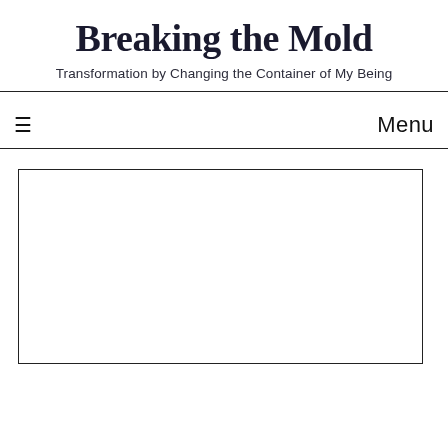Breaking the Mold
Transformation by Changing the Container of My Being
≡   Menu
[Figure (other): Large empty white rectangle with a black border, representing an image placeholder or embedded content area]